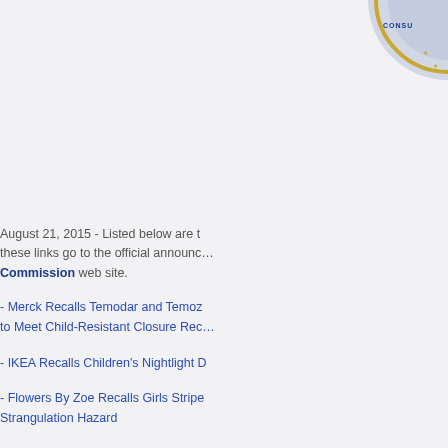[Figure (logo): CPSC Consumer Product Safety Commission seal/logo, partially visible in top-right corner]
August 21, 2015 - Listed below are the recalls announced today. All of these links go to the official announcements on the Consumer Product Safety Commission web site.
- Merck Recalls Temodar and Temozolomide Capsules to Meet Child-Resistant Closure Rec...
- IKEA Recalls Children's Nightlight D...
- Flowers By Zoe Recalls Girls Stripe... Strangulation Hazard
- Breezer Recalls Downtown Bicycle...
News's blog    Add new comment